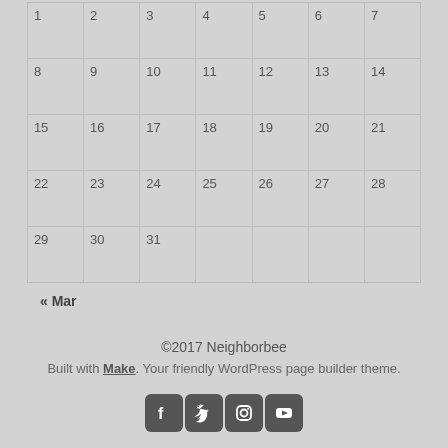| 1 | 2 | 3 | 4 | 5 | 6 | 7 |
| 8 | 9 | 10 | 11 | 12 | 13 | 14 |
| 15 | 16 | 17 | 18 | 19 | 20 | 21 |
| 22 | 23 | 24 | 25 | 26 | 27 | 28 |
| 29 | 30 | 31 |  |  |  |  |
« Mar
©2017 Neighborbee
Built with Make. Your friendly WordPress page builder theme.
[Figure (infographic): Social media icons: Facebook, Twitter, Instagram, YouTube]